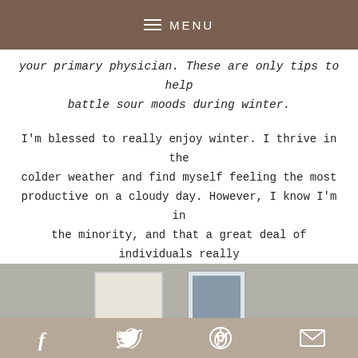MENU
your primary physician. These are only tips to help battle sour moods during winter.
I'm blessed to really enjoy winter. I thrive in the colder weather and find myself feeling the most productive on a cloudy day. However, I know I'm in the minority, and that a great deal of individuals really struggle during these particularly gloomy months. If you find yourself falling into a slump, these tips may help you see the sunshine again (metaphorically).
[Figure (photo): Interior room photo showing two framed pictures on a gray wall]
f  Twitter bird  p  mail icon